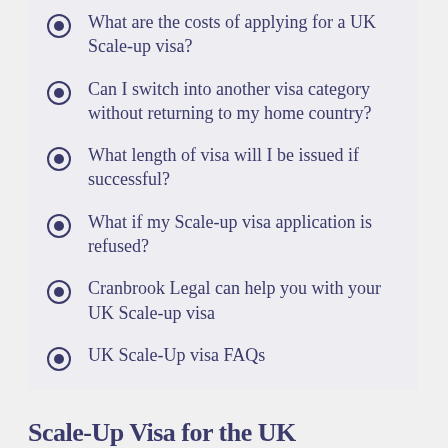What are the costs of applying for a UK Scale-up visa?
Can I switch into another visa category without returning to my home country?
What length of visa will I be issued if successful?
What if my Scale-up visa application is refused?
Cranbrook Legal can help you with your UK Scale-up visa
UK Scale-Up visa FAQs
Scale-Up Visa for the UK